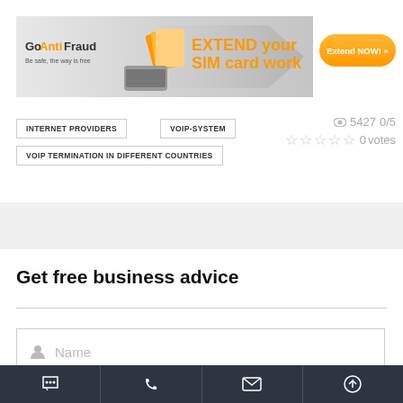[Figure (infographic): GoAnti Fraud advertisement banner for extending SIM card work, with orange gradient button 'Extend NOW!']
INTERNET PROVIDERS
VOIP-SYSTEM
VOIP TERMINATION IN DIFFERENT COUNTRIES
5427  0/5  0 votes
Get free business advice
Name